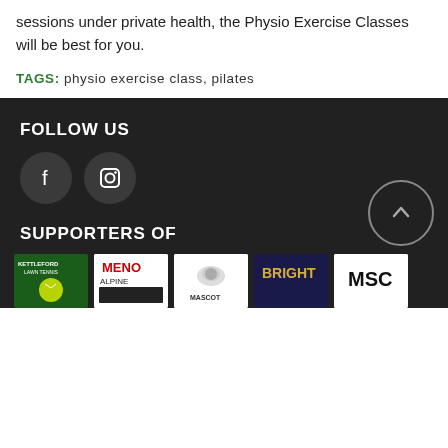sessions under private health, the Physio Exercise Classes will be best for you.
TAGS: physio exercise class, pilates
FOLLOW US
[Figure (other): Facebook icon circle button]
[Figure (other): Instagram icon circle button]
SUPPORTERS OF
[Figure (other): Kettleford Lawn Tennis logo]
[Figure (other): MENO Alpine logo]
[Figure (other): Cowboy mascot logo]
[Figure (other): Bright logo]
[Figure (other): MSC logo]